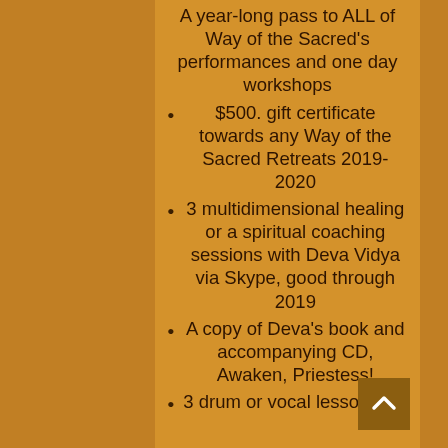A year-long pass to ALL of Way of the Sacred's performances and one day workshops
$500. gift certificate towards any Way of the Sacred Retreats 2019-2020
3 multidimensional healing or a spiritual coaching sessions with Deva Vidya via Skype, good through 2019
A copy of Deva's book and accompanying CD, Awaken, Priestess!
3 drum or vocal lessons via